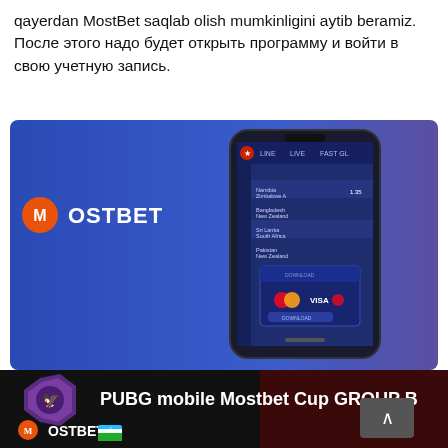qayerdan MostBet saqlab olish mumkinligini aytib beramiz. После этого надо будет открыть программу и войти в свою учетную запись.
[Figure (screenshot): MostBet mobile app screenshot on a blue/purple gradient background showing a smartphone with the MostBet betting interface, including sports betting lines and payment options (VISA, Mastercard). MostBet logo in orange and white on the left.]
[Figure (screenshot): Dark banner showing PUBG mobile Mostbet Cup GROUP B with a PUBG logo on the left and MostBet logo with Uzbekistan flag colors at the bottom left.]